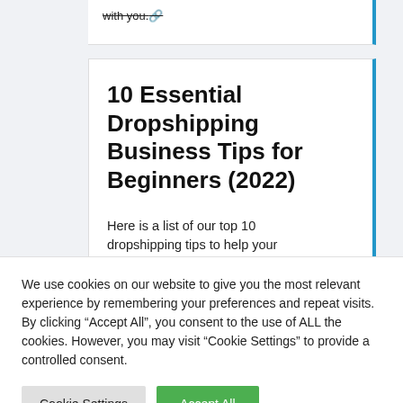with you.
10 Essential Dropshipping Business Tips for Beginners (2022)
Here is a list of our top 10 dropshipping tips to help your
We use cookies on our website to give you the most relevant experience by remembering your preferences and repeat visits. By clicking “Accept All”, you consent to the use of ALL the cookies. However, you may visit "Cookie Settings" to provide a controlled consent.
Cookie Settings
Accept All